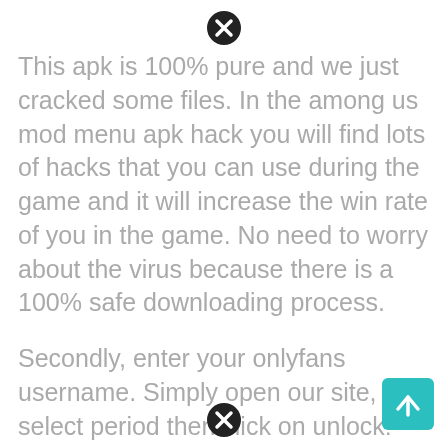[Figure (other): Close/dismiss button icon (circle with X) at top center]
This apk is 100% pure and we just cracked some files. In the among us mod menu apk hack you will find lots of hacks that you can use during the game and it will increase the win rate of you in the game. No need to worry about the virus because there is a 100% safe downloading process.
Secondly, enter your onlyfans username. Simply open our site, select period then click on unlock! Hanya saja, ada beberapa langkah yang mungkin akan kamu perlukan agar proses instalasi tidak terhambat, yaitu:
Your version of internet explorer is not supported. Onlyfans hack free onlyfans premium account generator 2021 no survey human verification, onlyfans hack generator onlyfans generator for premium, onlyfans
[Figure (other): Close/dismiss button icon (circle with X) at bottom center]
[Figure (other): Scroll to top button (teal/cyan square with upward arrow) at bottom right]